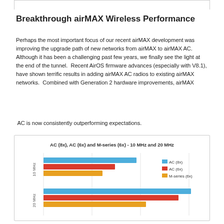Breakthrough airMAX Wireless Performance
Perhaps the most important focus of our recent airMAX development was improving the upgrade path of new networks from airMAX to airMAX AC.  Although it has been a challenging past few years, we finally see the light at the end of the tunnel.  Recent AirOS firmware advances (especially with V8.1), have shown terrific results in adding airMAX AC radios to existing airMAX networks.  Combined with Generation 2 hardware improvements, airMAX
AC is now consistently outperforming expectations.
[Figure (grouped-bar-chart): AC (8x), AC (6x) and M-series (6x) - 10 MHz and 20 MHz]